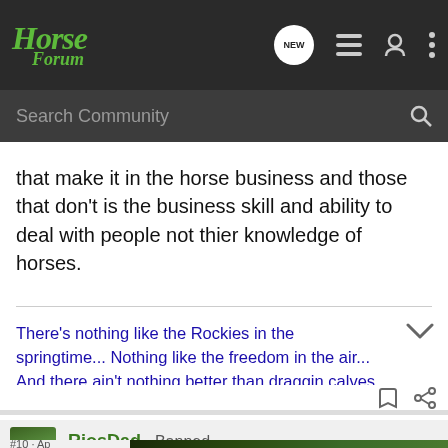Horse Forum
that make it in the horse business and those that don't is the business skill and ability to deal with people not thier knowledge of horses.
There's nothing like the Rockies in the springtime... Nothing like the freedom in the air... And there ain't nothing better than draggin calves to the
RiosDad · Banned
Joined Jul 2, 2009 · 1,566 Posts
[Figure (screenshot): GroundOS advertisement banner: The nation's top land brokers run on GroundOS. REQUEST A DEMO]